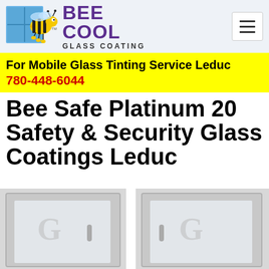[Figure (logo): Bee Cool Glass Coating logo with bee mascot and purple brand text]
For Mobile Glass Tinting Service Leduc
780-448-6044
Bee Safe Platinum 20 Safety & Security Glass Coatings Leduc
[Figure (photo): Photo of glass door or window panels, showing before/after or safety glass coating effect]